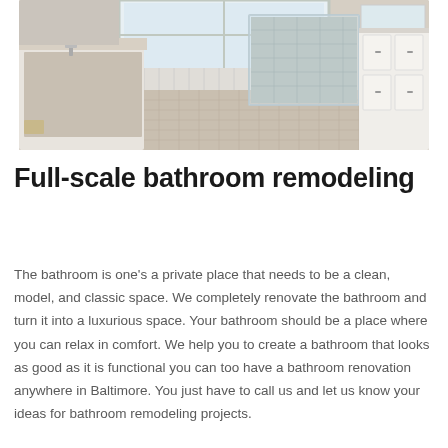[Figure (photo): Photograph of a luxurious bathroom interior featuring a marble-surround soaking tub on the left, a glass-enclosed shower in the center background, and white cabinetry with a mirror on the right. Light tile flooring throughout.]
Full-scale bathroom remodeling
The bathroom is one's a private place that needs to be a clean, model, and classic space. We completely renovate the bathroom and turn it into a luxurious space. Your bathroom should be a place where you can relax in comfort. We help you to create a bathroom that looks as good as it is functional you can too have a bathroom renovation anywhere in Baltimore. You just have to call us and let us know your ideas for bathroom remodeling projects.